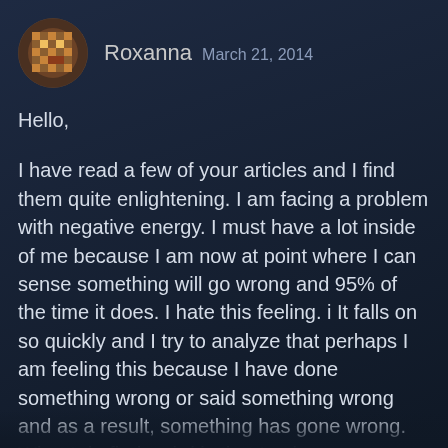[Figure (illustration): Circular avatar icon with brown/dark background showing a pixel-art style face or character]
Roxanna   March 21, 2014
Hello,

I have read a few of your articles and I find them quite enlightening. I am facing a problem with negative energy. I must have a lot inside of me because I am now at point where I can sense something will go wrong and 95% of the time it does. I hate this feeling. i It falls on so quickly and I try to analyze that perhaps I am feeling this because I have done something wrong or said something wrong and as a result, something has gone wrong. What I do find weird is that I only can sense when something negative will happen and not something positive.